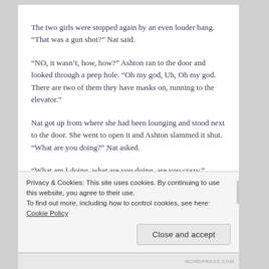The two girls were stopped again by an even louder bang. “That was a gun shot?” Nat said.
“NO, it wasn’t, how, how?” Ashton ran to the door and looked through a peep hole. “Oh my god, Uh, Oh my god. There are two of them they have masks on, running to the elevator.”
Nat got up from where she had been lounging and stood next to the door. She went to open it and Ashton slammed it shut. “What are you doing?” Nat asked.
“What am I doing, what are you doing, are you crazy.” Ashton’s eyes were wide and her heart was racing faster than
Privacy & Cookies: This site uses cookies. By continuing to use this website, you agree to their use.
To find out more, including how to control cookies, see here: Cookie Policy
Close and accept